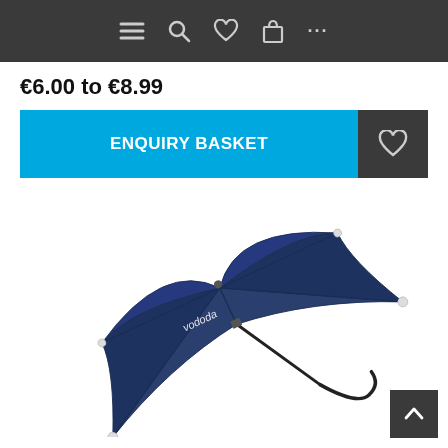Navigation bar with menu, search, heart, basket, and more icons
€6.00 to €8.99
ENQUIRY BASKET
[Figure (photo): Open navy blue umbrella with 'vododa' branding text visible on the canopy, shown at an angle against a white background]